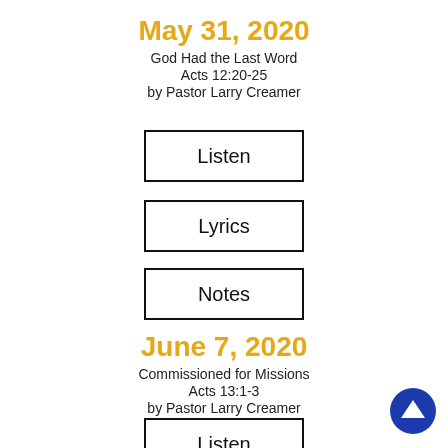May 31, 2020
God Had the Last Word
Acts 12:20-25
by Pastor Larry Creamer
Listen
Lyrics
Notes
June 7, 2020
Commissioned for Missions
Acts 13:1-3
by Pastor Larry Creamer
Listen
[Figure (illustration): Blue circle with white upward arrow icon (back to top button)]